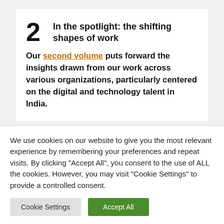2 In the spotlight: the shifting shapes of work
Our second volume puts forward the insights drawn from our work across various organizations, particularly centered on the digital and technology talent in India.
In the spotlight: leading through a digital
We use cookies on our website to give you the most relevant experience by remembering your preferences and repeat visits. By clicking "Accept All", you consent to the use of ALL the cookies. However, you may visit "Cookie Settings" to provide a controlled consent.